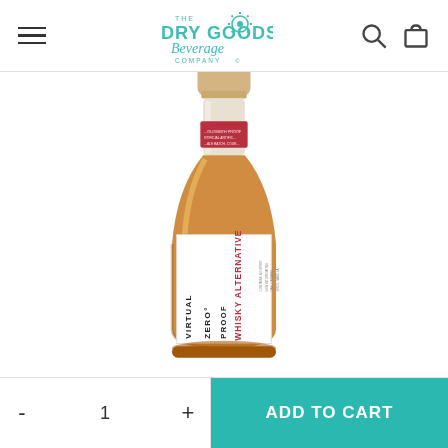The Dry Goods Beverage Company - navigation header with hamburger menu, logo, search and cart icons
[Figure (photo): A bottle of 'Virtual Zero Proof – Whisky Alternative' non-alcoholic spirit. The bottle has a sandy/tan cork stopper, a red collar label, and a white main label. The bottle contains an amber-colored liquid. Text on the label reads 'VIRTUAL ZERO PROOF WHISKY ALTERNATIVE'.]
- 1 + ADD TO CART